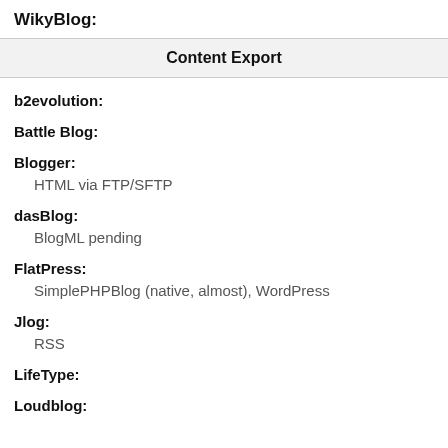WikyBlog:
Content Export
b2evolution:
Battle Blog:
Blogger:
HTML via FTP/SFTP
dasBlog:
BlogML pending
FlatPress:
SimplePHPBlog (native, almost), WordPress
Jlog:
RSS
LifeType:
Loudblog: